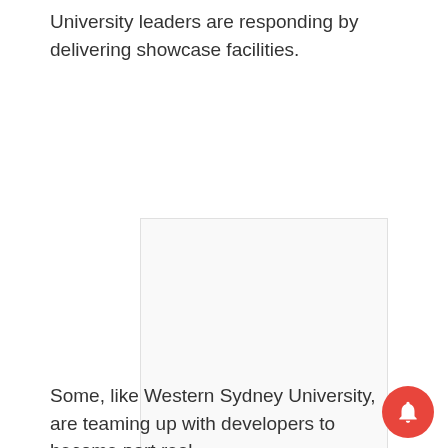University leaders are responding by delivering showcase facilities.
[Figure (other): Advertisement placeholder box with 'Ad' label centered inside]
Some, like Western Sydney University, are teaming up with developers to become part real